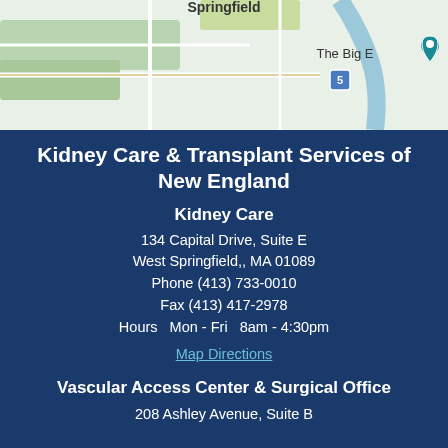[Figure (map): Street map showing area around West Springfield, MA with The Big E labeled and a location pin]
Kidney Care & Transplant Services of New England
Kidney Care
134 Capital Drive, Suite E
West Springfield,, MA 01089
Phone (413) 733-0010
Fax (413) 417-2978
Hours  Mon - Fri  8am - 4:30pm
Map Directions
Vascular Access Center & Surgical Office
208 Ashley Avenue, Suite B